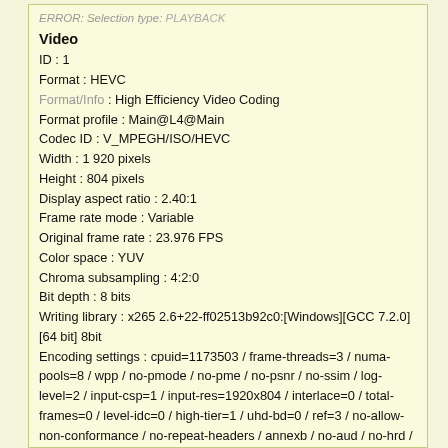ERROR: Selection type: PLAYBACK
Video
ID : 1
Format : HEVC
Format/Info : High Efficiency Video Coding
Format profile : Main@L4@Main
Codec ID : V_MPEGH/ISO/HEVC
Width : 1 920 pixels
Height : 804 pixels
Display aspect ratio : 2.40:1
Frame rate mode : Variable
Original frame rate : 23.976 FPS
Color space : YUV
Chroma subsampling : 4:2:0
Bit depth : 8 bits
Writing library : x265 2.6+22-ff02513b92c0:[Windows][GCC 7.2.0][64 bit] 8bit
Encoding settings : cpuid=1173503 / frame-threads=3 / numa-pools=8 / wpp / no-pmode / no-pme / no-psnr / no-ssim / log-level=2 / input-csp=1 / input-res=1920x804 / interlace=0 / total-frames=0 / level-idc=0 / high-tier=1 / uhd-bd=0 / ref=3 / no-allow-non-conformance / no-repeat-headers / annexb / no-aud / no-hrd / info / hash=0 / no-temporal-layers / open-gop / min-keyint=23 / keyint=250 / gop-lookahead=0 / bframes=4 / b-adapt=0 / b-pyramid / bframe-bias=0 / rc-lookahead=15 / lookahead-slices=5 / scenecut=40 / radl=0 / no-intra-refresh / ctu=64 / min-cu-size=8 / no-rect / no-amp / max-tu-size=32 / tu-inter-depth=1 / tu-intra-depth=1 / limit-tu=0 / rdoq-level=0 / dynamic-rd=0.00 / no-ssim-rd / signhide / no-tskip / nr-intra=0 / nr-inter=0 / no-constrained-intra / strong-intra-smoothing / max-